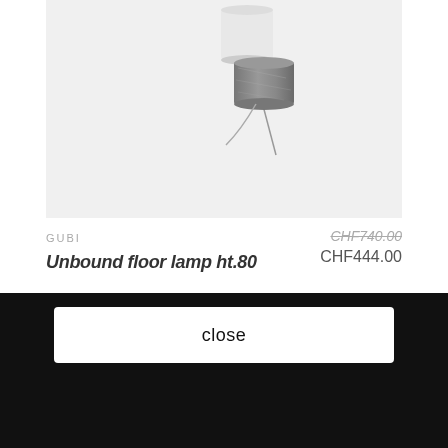[Figure (photo): A floor lamp (Unbound floor lamp ht.80 by GUBI) shown against a light gray background. The lamp features a white cylindrical shade on top and a dark marble/stone cylindrical base. A thin cord is visible.]
GUBI
CHF740.00
Unbound floor lamp ht.80
CHF444.00
[Figure (photo): Partial view of a second product card showing a light gray background with a rounded pale shape peeking from the bottom — likely another lamp or decorative object.]
close